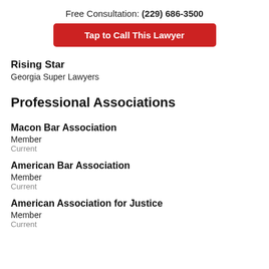Free Consultation: (229) 686-3500
Tap to Call This Lawyer
Rising Star
Georgia Super Lawyers
Professional Associations
Macon Bar Association
Member
Current
American Bar Association
Member
Current
American Association for Justice
Member
Current